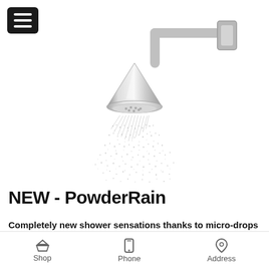[Figure (photo): A chrome overhead shower head (PowderRain) mounted on a wall-mount arm, shown spraying a fine mist of water droplets downward. The showerhead has a conical chrome body. The wall mount fitting is visible on the right.]
NEW - PowderRain
Completely new shower sensations thanks to micro-drops
Shop   Phone   Address